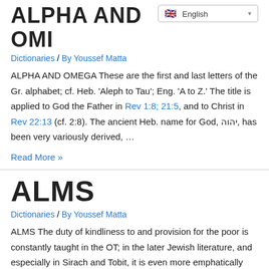ALPHA AND OMI…
Dictionaries / By Youssef Matta
ALPHA AND OMEGA These are the first and last letters of the Gr. alphabet; cf. Heb. 'Aleph to Tau'; Eng. 'A to Z.' The title is applied to God the Father in Rev 1:8; 21:5, and to Christ in Rev 22:13 (cf. 2:8). The ancient Heb. name for God, יהוה, has been very variously derived, …
Read More »
ALMS
Dictionaries / By Youssef Matta
ALMS The duty of kindliness to and provision for the poor is constantly taught in the OT; in the later Jewish literature, and especially in Sirach and Tobit, it is even more emphatically asserted. It is clear that our Lord and the Apostolic Church taught